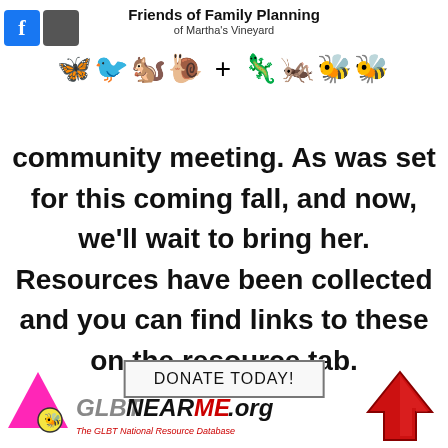Friends of Family Planning of Martha's Vineyard
[Figure (illustration): Row of insect/bug emoji icons including birds and insects with a plus sign in the middle]
community meeting. As was set for this coming fall, and now, we'll wait to bring her. Resources have been collected and you can find links to these on the resource tab.
DONATE TODAY!
[Figure (logo): GLBTNearMe.org logo with pink triangle and bee illustration, tagline: The GLBT National Resource Database]
[Figure (illustration): Red upward-pointing arrow icon]